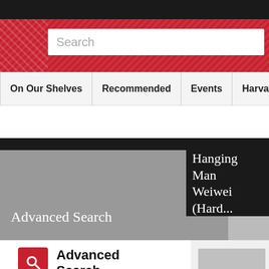[Figure (screenshot): Top black navigation bar of a website]
[Figure (screenshot): Red search banner with Search input field]
Search
On Our Shelves | Recommended | Events | Harvard Clothing, Gif
[Figure (screenshot): Hero banner showing Advanced Search panel (grey) and Hanging Man Weiwei (Hard... book promotion (black panel) with book cover photo]
Advanced Search
Hanging Man Weiwei (Hard...
Advanced Search
Click here to use our advanced search.
[Figure (photo): Book cover of Hanging Man: The Arrest of Ai Weiwei — grey cover with hands holding a ceramic object, red band with title text]